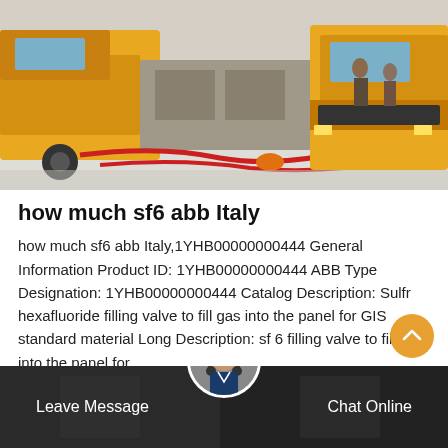[Figure (photo): Yellow construction/industrial trucks parked in a snowy outdoor area with red hoses on the ground and people standing nearby]
how much sf6 abb Italy
how much sf6 abb Italy,1YHB00000000444 General Information Product ID: 1YHB00000000444 ABB Type Designation: 1YHB00000000444 Catalog Description: Sulfr hexafluoride filling valve to fill gas into the panel for GIS standard material Long Description: sf 6 filling valve to fill gas into the panel for
Get Price
Leave Message
Chat Online